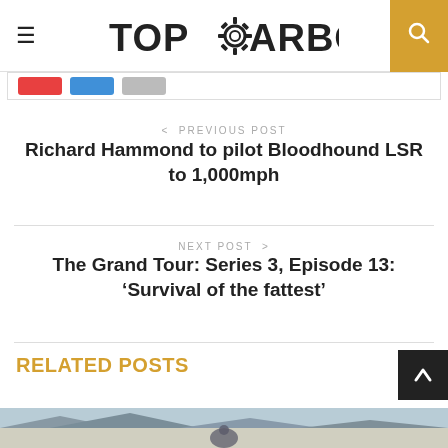TOPGEARBOX
< PREVIOUS POST
Richard Hammond to pilot Bloodhound LSR to 1,000mph
NEXT POST >
The Grand Tour: Series 3, Episode 13: 'Survival of the fattest'
RELATED POSTS
[Figure (photo): Bottom strip showing a landscape/desert scene with a figure]